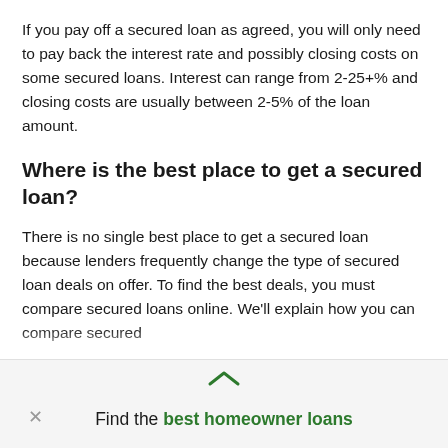If you pay off a secured loan as agreed, you will only need to pay back the interest rate and possibly closing costs on some secured loans. Interest can range from 2-25+% and closing costs are usually between 2-5% of the loan amount.
Where is the best place to get a secured loan?
There is no single best place to get a secured loan because lenders frequently change the type of secured loan deals on offer. To find the best deals, you must compare secured loans online. We'll explain how you can compare secured personal loans effectively later in this guide.
Find the best homeowner loans